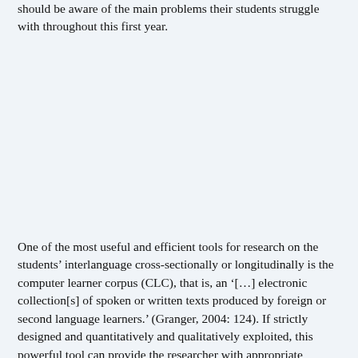should be aware of the main problems their students struggle with throughout this first year.
One of the most useful and efficient tools for research on the students' interlanguage cross-sectionally or longitudinally is the computer learner corpus (CLC), that is, an '[…] electronic collection[s] of spoken or written texts produced by foreign or second language learners.' (Granger, 2004: 124). If strictly designed and quantitatively and qualitatively exploited, this powerful tool can provide the researcher with appropriate